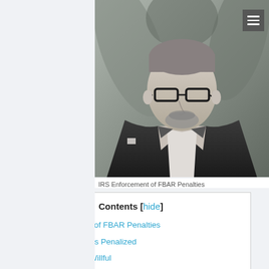[Figure (logo): Circular logo with letter g in white on dark background]
[Figure (photo): Black and white portrait photo of a man in a suit with glasses, with palm leaves in background. Caption: IRS Enforcement of FBAR Penalties]
IRS Enforcement of FBAR Penalties
Contents [hide]
1 IRS Enforcement of FBAR Penalties
2 Not Everyone Gets Penalized
3 Not Everyone is Willful